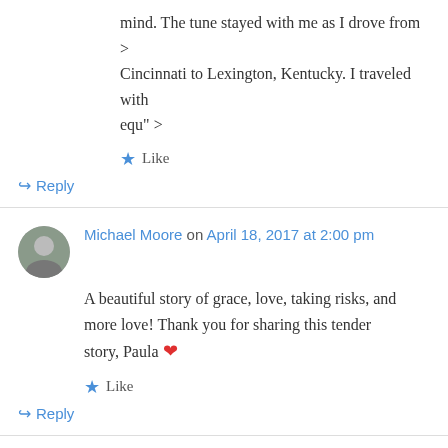mind. The tune stayed with me as I drove from > Cincinnati to Lexington, Kentucky. I traveled with equ" >
Like
↳ Reply
Michael Moore on April 18, 2017 at 2:00 pm
A beautiful story of grace, love, taking risks, and more love! Thank you for sharing this tender story, Paula ❤
Like
↳ Reply
Donna on April 18, 2017 at 2:00 pm